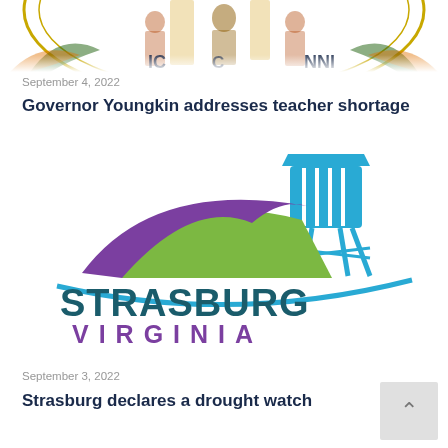[Figure (illustration): Top portion of Virginia state seal or government emblem, partially cropped — showing ornamental details with figures and text fragments 'IC' and 'NNI' visible]
September 4, 2022
Governor Youngkin addresses teacher shortage
[Figure (logo): Strasburg Virginia official town logo featuring stylized mountain hills in purple and green, a blue water tower with vertical stripes, a teal arc, and text 'STRASBURG' in dark teal and 'VIRGINIA' in purple spaced letters]
September 3, 2022
Strasburg declares a drought watch